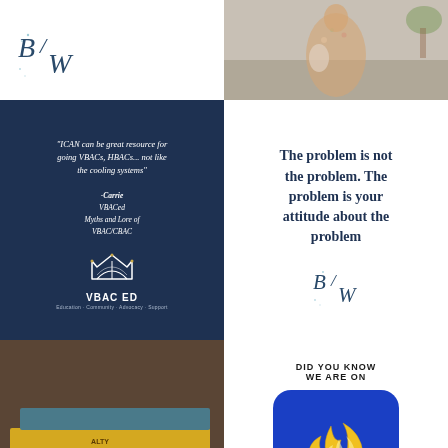[Figure (logo): B/W logo in italic serif font, teal/navy color, top left]
[Figure (photo): Person in floral shirt holding something, standing by a bed with plants in background]
[Figure (infographic): Dark navy blue card with VBAC ED logo and quote: 'ICAN can be great resource for going VBACs, HBACs... not like the cooling systems' - Carrie, VBACed Myths and Lore of VBAC/CBAC]
[Figure (infographic): White background with text: The problem is not the problem. The problem is your attitude about the problem, with B/W logo below]
[Figure (photo): Stack of books including 'Choose Your Own Journey' with a dark cloth/bag with quote text]
[Figure (infographic): DID YOU KNOW WE ARE ON header above blue rounded rectangle with yellow flame icon (Patreon)]